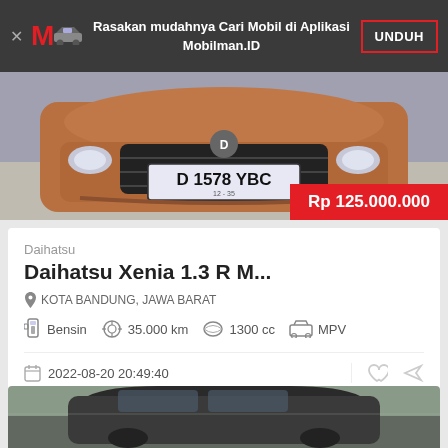Rasakan mudahnya Cari Mobil di Aplikasi Mobilman.ID — UNDUH
[Figure (photo): Front view of a bronze/copper colored Daihatsu Xenia car with license plate D 1578 YBC]
Rp 125.000.000
Daihatsu
Daihatsu Xenia 1.3 R M...
KOTA BANDUNG, JAWA BARAT
Bensin   35.000 km   1300 cc   MPV
2022-08-20 20:49:40
[Figure (photo): Partial view of a dark colored car, second listing preview]